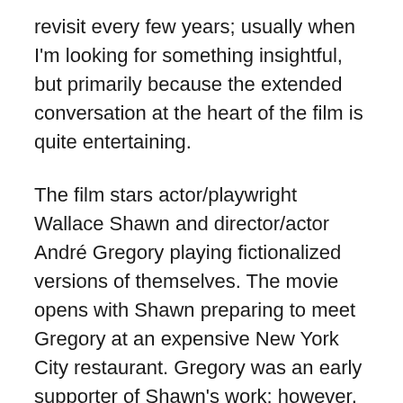revisit every few years; usually when I'm looking for something insightful, but primarily because the extended conversation at the heart of the film is quite entertaining.
The film stars actor/playwright Wallace Shawn and director/actor André Gregory playing fictionalized versions of themselves. The movie opens with Shawn preparing to meet Gregory at an expensive New York City restaurant. Gregory was an early supporter of Shawn's work; however, the one-time colleagues have not spoken to each other for years. Shawn is filled with trepidation at the prospect of meeting with Gregory. Over the years, he heard that Gregory had left his successful career as a director and traveled the world in search of spiritual enlightenment. Shawn's concern is heightened when he hears that a mutual friend ran into Gregory in an obscure part of town, sobbing because he had just seen Ingmar